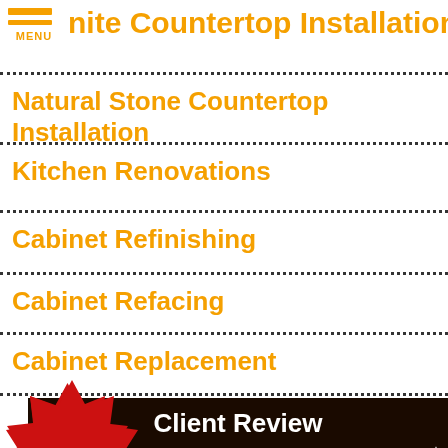nite Countertop Installation
Natural Stone Countertop Installation
Kitchen Renovations
Cabinet Refinishing
Cabinet Refacing
Cabinet Replacement
Client Review
[Figure (infographic): Red starburst badge with text 'Full Design Services']
I highly recommend them!
[Figure (infographic): Star icon, phone icon with star, mail icon with star - review/contact icons]